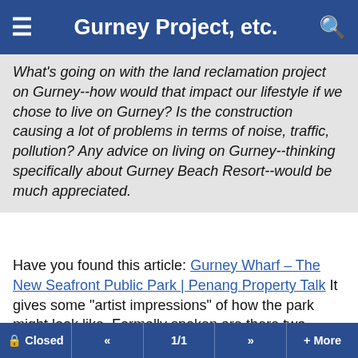Gurney Project, etc.
What's going on with the land reclamation project on Gurney--how would that impact our lifestyle if we chose to live on Gurney? Is the construction causing a lot of problems in terms of noise, traffic, pollution? Any advice on living on Gurney--thinking specifically about Gurney Beach Resort--would be much appreciated.
Have you found this article: Gurney Wharf – The New Seafront Public Park | Penang Property Talk It gives some "artist impressions" of how the park might look like. Formally spoken are there two reclamation projects ongoing: one is called Gurney Wharf and adds a strip of land next to Gurney
[Figure (screenshot): Video player overlay showing a football/soccer match with AIA sponsor logos. An error message reads: 'The media could not be loaded, either because the server or network failed or because the format is not supported.' A right-side panel shows text: 'Conte: ‘No need for clear the air meeting with Tuchel, this situation is normal’']
Closed  «  1/1  »  + More